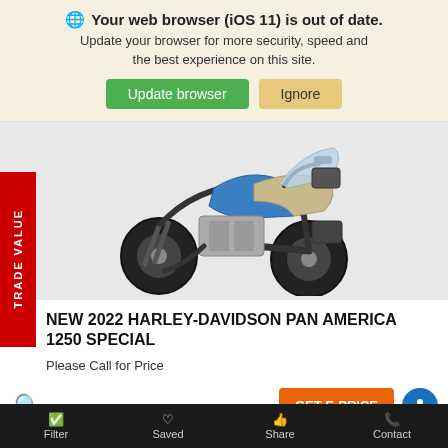🌐 Your web browser (iOS 11) is out of date. Update your browser for more security, speed and the best experience on this site. [Update browser] [Ignore]
[Figure (photo): New 2022 Harley-Davidson Pan America 1250 Special motorcycle in blue and tan/grey colorway, shown in studio on white background, three-quarter front view]
NEW 2022 HARLEY-DAVIDSON PAN AMERICA 1250 SPECIAL
Please Call for Price
GET E-PRICE
Filter   Saved   Share   Contact